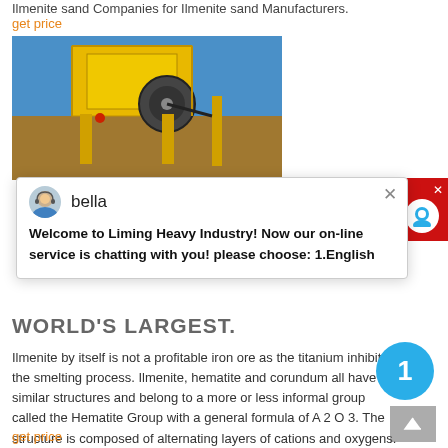Ilmenite sand Companies for Ilmenite sand Manufacturers.
get price
[Figure (photo): Yellow industrial mining/crushing machine against blue sky]
[Figure (screenshot): Chat popup from Liming Heavy Industry with avatar of 'bella' and welcome message]
WORLD'S LARGEST.
Ilmenite by itself is not a profitable iron ore as the titanium inhibits the smelting process. Ilmenite, hematite and corundum all have similar structures and belong to a more or less informal group called the Hematite Group with a general formula of A 2 O 3. The structure is composed of alternating layers of cations and oxygens.
get price